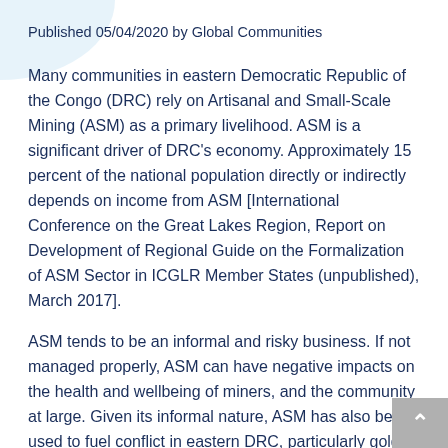Published 05/04/2020 by Global Communities
Many communities in eastern Democratic Republic of the Congo (DRC) rely on Artisanal and Small-Scale Mining (ASM) as a primary livelihood. ASM is a significant driver of DRC’s economy. Approximately 15 percent of the national population directly or indirectly depends on income from ASM [International Conference on the Great Lakes Region, Report on Development of Regional Guide on the Formalization of ASM Sector in ICGLR Member States (unpublished), March 2017].
ASM tends to be an informal and risky business. If not managed properly, ASM can have negative impacts on the health and wellbeing of miners, and the community at large. Given its informal nature, ASM has also been used to fuel conflict in eastern DRC, particularly gold. But done right, ASM can also bring direct benefits to communities who wouldn’t otherwise have had the